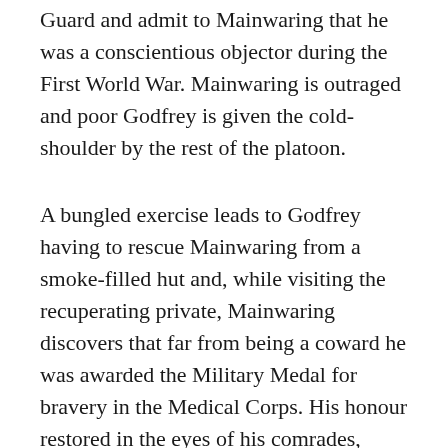Guard and admit to Mainwaring that he was a conscientious objector during the First World War. Mainwaring is outraged and poor Godfrey is given the cold-shoulder by the rest of the platoon.
A bungled exercise leads to Godfrey having to rescue Mainwaring from a smoke-filled hut and, while visiting the recuperating private, Mainwaring discovers that far from being a coward he was awarded the Military Medal for bravery in the Medical Corps. His honour restored in the eyes of his comrades, Godfrey returns to the platoon as medical orderly. It is a cheering ending but this episode certainly plumbs the depths of